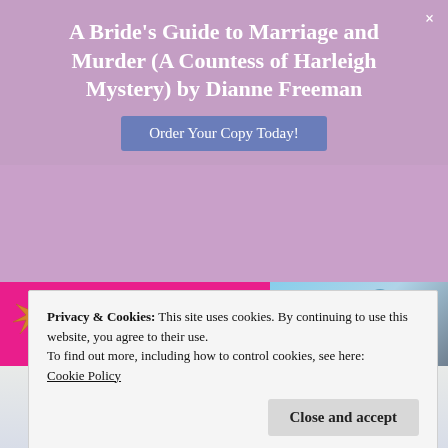A Bride's Guide to Marriage and Murder (A Countess of Harleigh Mystery) by Dianne Freeman
Order Your Copy Today!
[Figure (screenshot): Pink banner with starfish and the word 'Escape', and a tropical beach/pool scene to the right]
[Figure (screenshot): Cursive/script signature reading 'Dollys' on a light background, with beach scene behind. Below shows partial text 'Good Book Lounge']
Privacy & Cookies: This site uses cookies. By continuing to use this website, you agree to their use.
To find out more, including how to control cookies, see here:
Cookie Policy
Close and accept